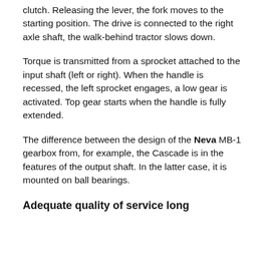clutch. Releasing the lever, the fork moves to the starting position. The drive is connected to the right axle shaft, the walk-behind tractor slows down.
Torque is transmitted from a sprocket attached to the input shaft (left or right). When the handle is recessed, the left sprocket engages, a low gear is activated. Top gear starts when the handle is fully extended.
The difference between the design of the Neva MB-1 gearbox from, for example, the Cascade is in the features of the output shaft. In the latter case, it is mounted on ball bearings.
Adequate quality of service long